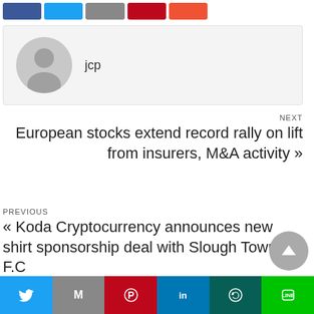[Figure (screenshot): Row of social share buttons at top: Facebook (blue), Twitter (light blue), email (grey), Pinterest (dark red), orange button]
[Figure (other): Author avatar: grey circular placeholder silhouette icon]
jcp
NEXT
European stocks extend record rally on lift from insurers, M&A activity »
PREVIOUS
« Koda Cryptocurrency announces new shirt sponsorship deal with Slough Town F.C
SHARE
[Figure (screenshot): Partial row of social share icons at bottom edge]
[Figure (screenshot): Bottom bar with Twitter, Gmail, Pinterest, LinkedIn, WhatsApp, Line icons in coloured blocks]